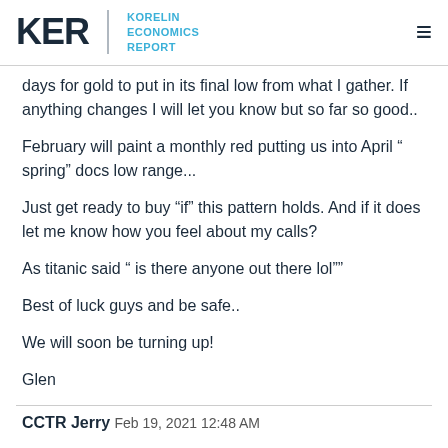KER | KORELIN ECONOMICS REPORT
days for gold to put in its final low from what I gather. If anything changes I will let you know but so far so good..
February will paint a monthly red putting us into April “ spring” docs low range...
Just get ready to buy “if” this pattern holds. And if it does let me know how you feel about my calls?
As titanic said “ is there anyone out there lol”"
Best of luck guys and be safe..
We will soon be turning up!
Glen
CCTR Jerry Feb 19, 2021 12:48 AM